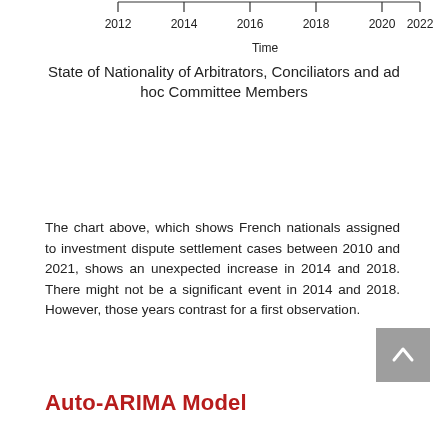[Figure (continuous-plot): Bottom portion of a time series chart showing x-axis with years 2012 to 2022 and axis label 'Time']
State of Nationality of Arbitrators, Conciliators and ad hoc Committee Members
The chart above, which shows French nationals assigned to investment dispute settlement cases between 2010 and 2021, shows an unexpected increase in 2014 and 2018. There might not be a significant event in 2014 and 2018. However, those years contrast for a first observation.
Auto-ARIMA Model